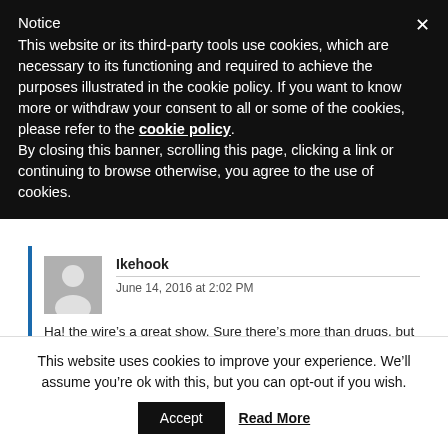Notice
This website or its third-party tools use cookies, which are necessary to its functioning and required to achieve the purposes illustrated in the cookie policy. If you want to know more or withdraw your consent to all or some of the cookies, please refer to the cookie policy. By closing this banner, scrolling this page, clicking a link or continuing to browse otherwise, you agree to the use of cookies.
Ikehook
June 14, 2016 at 2:02 PM
Ha! the wire’s a great show. Sure there’s more than drugs, but can’t you envision a cart in the inner harbor rolling by Phillips with “HarborHigh.com” written on the side?
This website uses cookies to improve your experience. We’ll assume you’re ok with this, but you can opt-out if you wish.
Accept
Read More